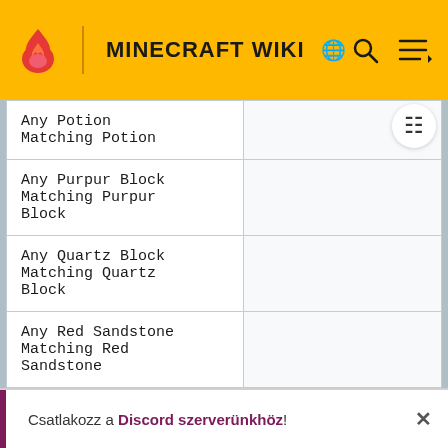MINECRAFT WIKI
| Ingredient |  |
| --- | --- |
| Any Potion
Matching Potion |  |
| Any Purpur Block
Matching Purpur Block |  |
| Any Quartz Block
Matching Quartz Block |  |
| Any Red Sandstone
Matching Red Sandstone |  |
| Any Sandstone |  |
Csatlakozz a Discord szerverünkhöz!